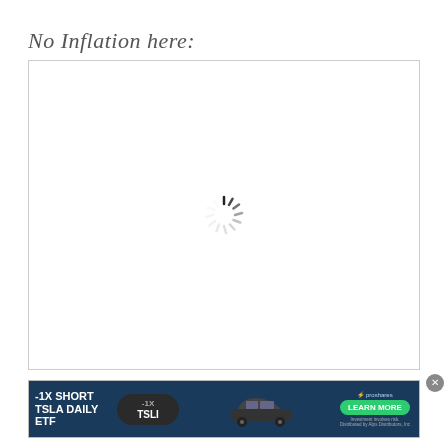No Inflation here:
[Figure (other): Empty chart placeholder with a loading spinner (circular dashed indicator) centered in a white bordered box]
[Figure (other): Advertisement banner for -1X Short TSLA Daily ETF by ProShares with a dark blue background, showing the TSLI ticker badge, a Tesla car image, and a green Learn More button]